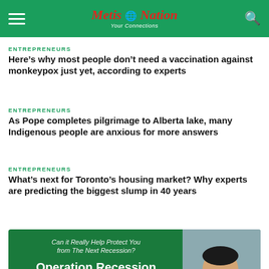Metis Nation — Your Connections
ENTREPRENEURS
Here's why most people don't need a vaccination against monkeypox just yet, according to experts
ENTREPRENEURS
As Pope completes pilgrimage to Alberta lake, many Indigenous people are anxious for more answers
ENTREPRENEURS
What's next for Toronto's housing market? Why experts are predicting the biggest slump in 40 years
[Figure (infographic): Advertisement banner: Can it Really Help Protect You from The Next Recession? Operation Recession Takeover (Free Market Analysis) — Watch This Video Now To — with image of man in suit on right side]